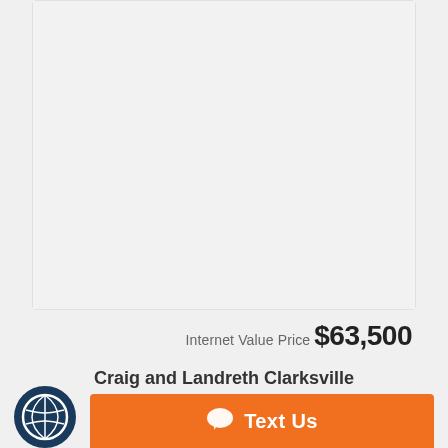[Figure (photo): Large gray placeholder photo box]
Photos (44)  |  Video
Internet Value Price $63,500
Craig and Landreth Clarksville
619 East Lewis and Clark Parkway
[Figure (logo): Blue circular logo with spiral/globe icon]
Text Us